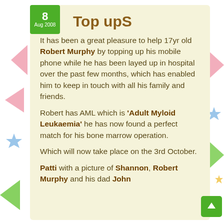Top upS
It has been a great pleasure to help 17yr old Robert Murphy by topping up his mobile phone while he has been layed up in hospital over the past few months, which has enabled him to keep in touch with all his family and friends.
Robert has AML which is 'Adult Myloid Leukaemia' he has now found a perfect match for his bone marrow operation.
Which will now take place on the 3rd October.
Patti with a picture of Shannon, Robert Murphy and his dad John